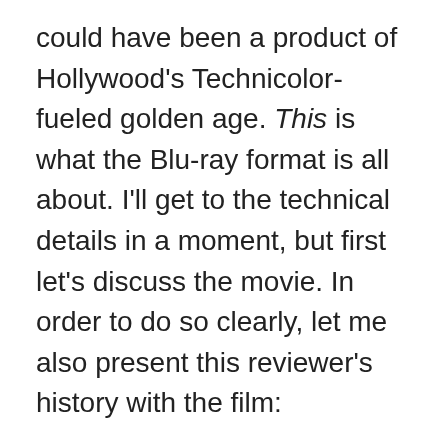could have been a product of Hollywood's Technicolor-fueled golden age. This is what the Blu-ray format is all about. I'll get to the technical details in a moment, but first let's discuss the movie. In order to do so clearly, let me also present this reviewer's history with the film:
As a fan of 'American Beauty' and the legendary cinematographer Conrad Hall ('Butch Cassidy and the Sundance Kid', 'Cool Hand Luke'), I was practically frothing at the mouth when this film premiered back in '02. But a funny thing happened. I left the theatre feeling cold. I didn't love it and thus, haven't seen the movie in its entirety since. Again, thank goodness for Blu-ray. Sitting down for this film with a huge TV and a home theater format able to